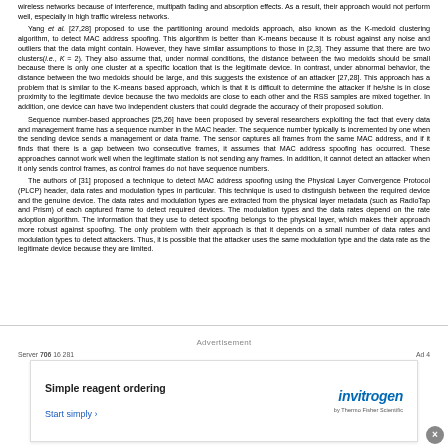wireless networks because of interference, multipath fading and absorption effects. As a result, their approach would not perform well, especially in high traffic wireless networks.
Yang et al. [27,28] proposed to use the partitioning around medoids approach, also known as the K-medoid clustering algorithm, to detect MAC address spoofing. This algorithm is better than K-means because it is robust against any noise and outliers that the data might contain. However, they have similar assumptions to those in [2,3]. They assume that there are two clusters (i.e., K = 2). They also assume that, under normal conditions, the distance between the two medoids should be small because there is only one cluster at a specific location that is the legitimate device. In contrast, under abnormal behavior, the distance between the two medoids should be large, and this suggests the existence of an attacker [27,28]. This approach has a problem that is similar to the K-means based approach, which is that it is difficult to determine the attacker if he/she is in close proximity to the legitimate device because the two medoids are close to each other and the RSS samples are mixed together. In addition, one device can have two independent clusters that could degrade the accuracy of their proposed solution.
Sequence number-based approaches [25,26] have been proposed by several researchers exploiting the fact that every data and management frame has a sequence number in the MAC header. The sequence number typically is incremented by one when the sending device sends an management or data frame. The sensor captures all frames from the same MAC address, and if it finds that there is a gap between two consecutive frames, it assumes that MAC address spoofing has occurred. These approaches cannot work well when the legitimate station is not sending any frames. In addition, it cannot detect an attacker when it only sends control frames, as control frames do not have sequence numbers.
The authors of [31] proposed a technique to detect MAC address spoofing using the Physical Layer Convergence Protocol (PLCP) header, data rates and modulation types in particular. This technique is used to distinguish between the required device and the genuine device. The data rates and modulation types are extracted from the physical layer metadata (such as RadioTap and Prism) of each captured frame to detect required devices. The modulation types and the data rates depend on the rate adoption algorithm. The information that they use to detect spoofing belongs to the physical layer, which makes their approach more robust against spoofing. The only problem with their approach is that it depends on a small number of data rates and modulation types to detect attackers. Thus, it is possible that the attacker uses the same modulation type and the data rate as the legitimate device because they are limited.
Server 706 16 281                                                                                        Ad 4
Advertisement
[Figure (other): Invitrogen advertisement banner with text 'Simple reagent ordering' and 'Start simply ›' link, with Invitrogen by Thermo Fisher Scientific logo on the right.]